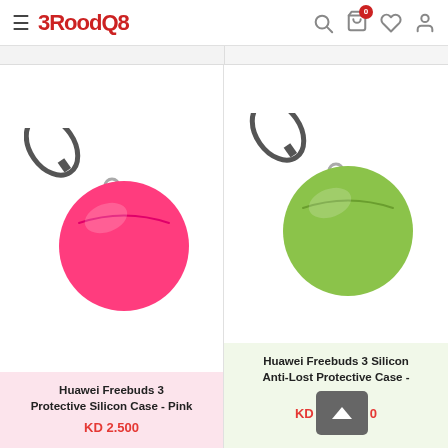3RoodQ8 — navigation header with hamburger menu, logo, search, cart (0), wishlist, and account icons
[Figure (photo): Pink Huawei Freebuds 3 silicone protective case with black carabiner clip, shown on white background]
Huawei Freebuds 3 Protective Silicon Case - Pink
KD 2.500
[Figure (photo): Green Huawei Freebuds 3 silicone anti-lost protective case with black carabiner clip, shown on white background]
Huawei Freebuds 3 Silicon Anti-Lost Protective Case -
KD 2.500